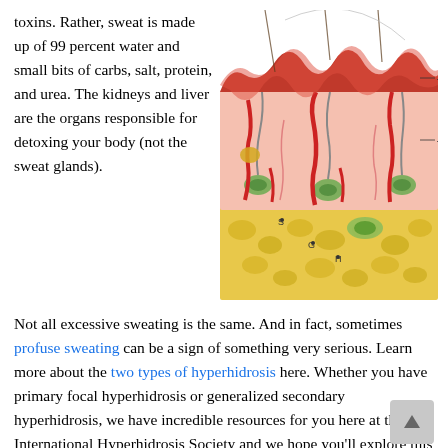toxins. Rather, sweat is made up of 99 percent water and small bits of carbs, salt, protein, and urea. The kidneys and liver are the organs responsible for detoxing your body (not the sweat glands).
[Figure (illustration): Cross-section anatomical illustration of human skin layers showing epidermis (E), dermis (D), sweat gland ducts (S, G, H) and other skin structures. The diagram labels various components of skin anatomy.]
Not all excessive sweating is the same. And in fact, sometimes profuse sweating can be a sign of something very serious. Learn more about the two types of hyperhidrosis here. Whether you have primary focal hyperhidrosis or generalized secondary hyperhidrosis, we have incredible resources for you here at the International Hyperhidrosis Society and we hope you'll explore this website thoroughly. As you do so, you'll